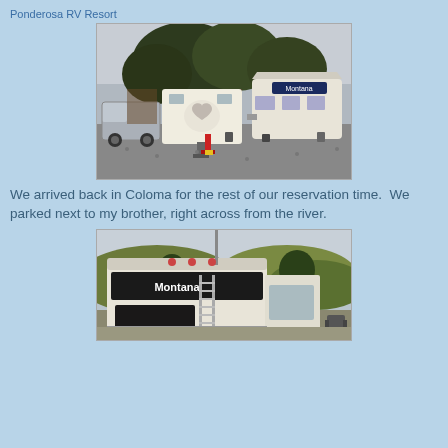Ponderosa RV Resort
[Figure (photo): RV park scene with two RVs (a travel trailer and a fifth wheel Montana) parked on gravel, large oak trees in background, truck visible on left]
We arrived back in Coloma for the rest of our reservation time.  We parked next to my brother, right across from the river.
[Figure (photo): Rear view of a white Montana fifth-wheel RV parked at campsite with hills and trees visible in background, camp chair visible to the right]